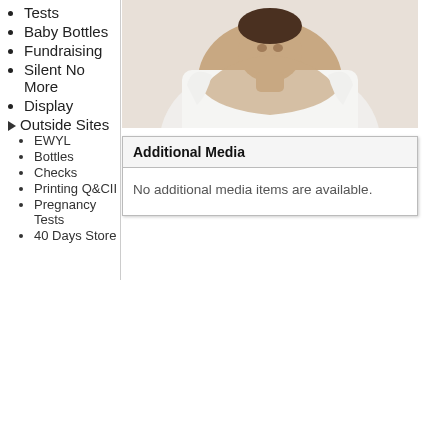Tests
Baby Bottles
Fundraising
Silent No More
Display
Outside Sites
EWYL
Bottles
Checks
Printing Q&CII
Pregnancy Tests
40 Days Store
[Figure (photo): A man in a white shirt holding a baby, cropped view showing head and arms]
Additional Media
No additional media items are available.